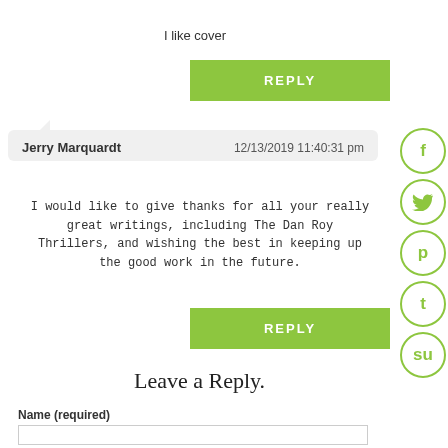I like cover
REPLY
Jerry Marquardt   12/13/2019 11:40:31 pm
I would like to give thanks for all your really great writings, including The Dan Roy Thrillers, and wishing the best in keeping up the good work in the future.
REPLY
Leave a Reply.
Name (required)